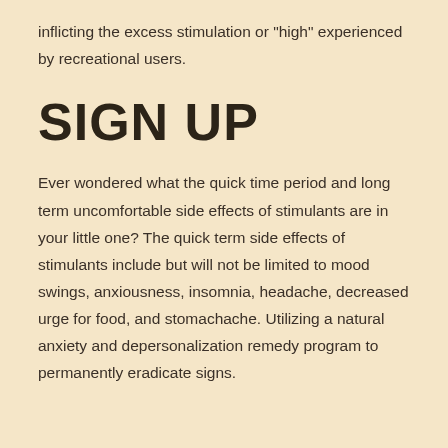inflicting the excess stimulation or "high" experienced by recreational users.
SIGN UP
Ever wondered what the quick time period and long term uncomfortable side effects of stimulants are in your little one? The quick term side effects of stimulants include but will not be limited to mood swings, anxiousness, insomnia, headache, decreased urge for food, and stomachache. Utilizing a natural anxiety and depersonalization remedy program to permanently eradicate signs.